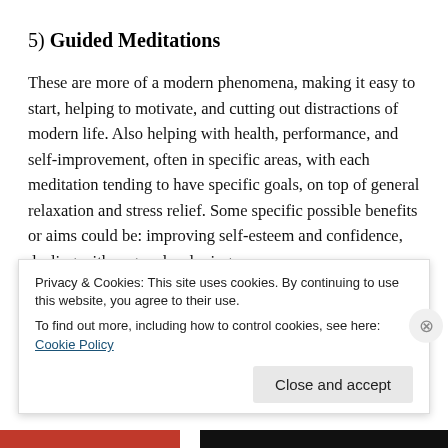5) Guided Meditations
These are more of a modern phenomena, making it easy to start, helping to motivate, and cutting out distractions of modern life. Also helping with health, performance, and self-improvement, often in specific areas, with each meditation tending to have specific goals, on top of general relaxation and stress relief. Some specific possible benefits or aims could be: improving self-esteem and confidence, dealing with anger, developing
Privacy & Cookies: This site uses cookies. By continuing to use this website, you agree to their use.
To find out more, including how to control cookies, see here: Cookie Policy